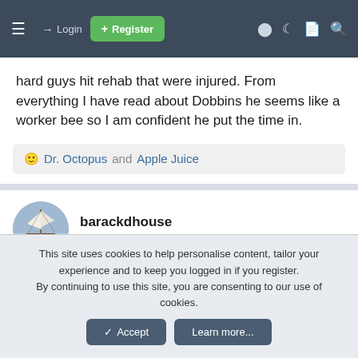Login | Register
hard guys hit rehab that were injured. From everything I have read about Dobbins he seems like a worker bee so I am confident he put the time in.
🙂 Dr. Octopus and Apple Juice
barackdhouse
Footballguy
Feb 23, 2022  #815
Isn't he also a lot your partner most of those past incidences...
This site uses cookies to help personalise content, tailor your experience and to keep you logged in if you register.
By continuing to use this site, you are consenting to our use of cookies.